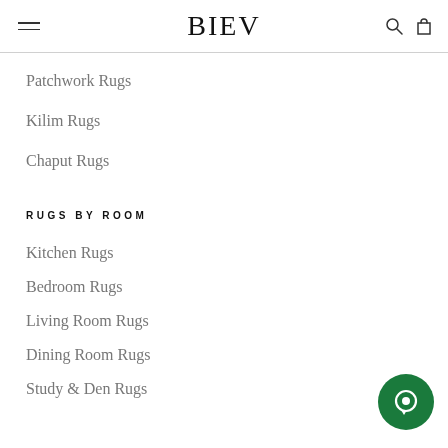BIEV
Patchwork Rugs
Kilim Rugs
Chaput Rugs
RUGS BY ROOM
Kitchen Rugs
Bedroom Rugs
Living Room Rugs
Dining Room Rugs
Study & Den Rugs